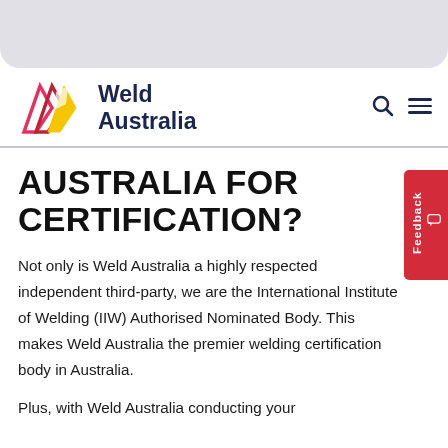[Figure (logo): Weld Australia logo with geometric diamond shapes in pink, red, yellow, and the text 'Weld Australia' in dark navy blue]
AUSTRALIA FOR CERTIFICATION?
Not only is Weld Australia a highly respected independent third-party, we are the International Institute of Welding (IIW) Authorised Nominated Body. This makes Weld Australia the premier welding certification body in Australia.
Plus, with Weld Australia conducting your